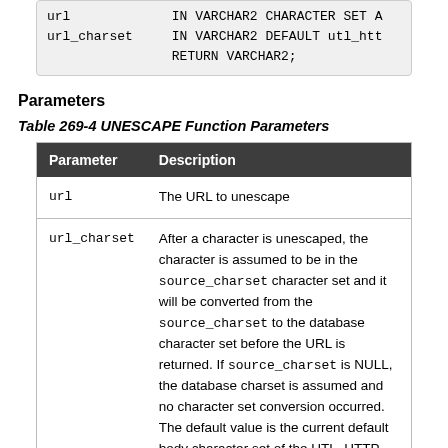url   IN VARCHAR2 CHARACTER SET A...
url_charset   IN VARCHAR2 DEFAULT utl_htt...
   RETURN VARCHAR2;
Parameters
Table 269-4 UNESCAPE Function Parameters
| Parameter | Description |
| --- | --- |
| url | The URL to unescape |
| url_charset | After a character is unescaped, the character is assumed to be in the source_charset character set and it will be converted from the source_charset to the database character set before the URL is returned. If source_charset is NULL, the database charset is assumed and no character set conversion occurred. The default value is the current default body character set of the UTL_HTTP package default... |